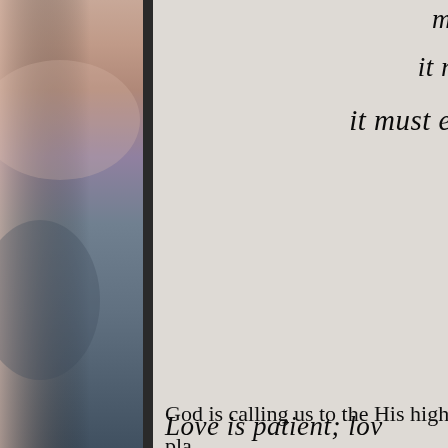[Figure (photo): Left side photo strip with blurred sunset/landscape image in muted pinks, purples, and blues with a dark vertical separator bar]
it r
it must e
God is calling us to the His high pla is 1 Corinthians 13 because this sim it is not.
Love is patient; lov